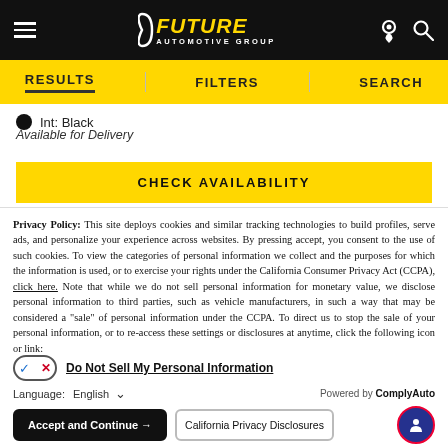[Figure (logo): Future Automotive Group logo in yellow and white on black header bar with hamburger menu, pin icon, and search icon]
RESULTS   FILTERS   SEARCH
Int: Black
Available for Delivery
CHECK AVAILABILITY
Privacy Policy: This site deploys cookies and similar tracking technologies to build profiles, serve ads, and personalize your experience across websites. By pressing accept, you consent to the use of such cookies. To view the categories of personal information we collect and the purposes for which the information is used, or to exercise your rights under the California Consumer Privacy Act (CCPA), click here. Note that while we do not sell personal information for monetary value, we disclose personal information to third parties, such as vehicle manufacturers, in such a way that may be considered a "sale" of personal information under the CCPA. To direct us to stop the sale of your personal information, or to re-access these settings or disclosures at anytime, click the following icon or link:
Do Not Sell My Personal Information
Language:  English  ∨  Powered by ComplyAuto
Accept and Continue →   California Privacy Disclosures